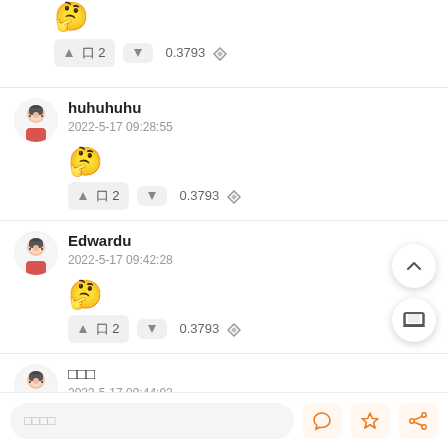🤔 (emoji) — partial top comment, vote: ▲ 口 2 ▼ 0.3793
huhuhuhu — 2022-5-17 09:28:55 — emoji 🤔 — vote: ▲ 口 2 ▼ 0.3793
Edwardu — 2022-5-17 09:42:28 — emoji 🤔 — vote: ▲ 口 2 ▼ 0.3793
□□□ — 2022-5-17 09:44:02
□□□□ (input placeholder)